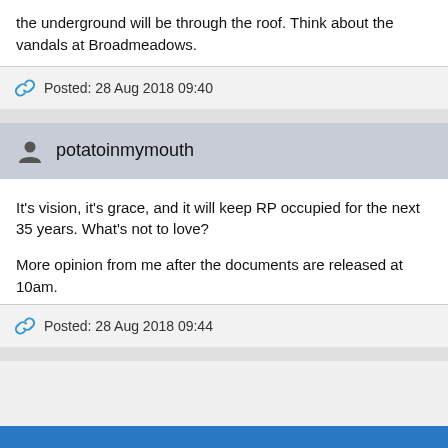the underground will be through the roof. Think about the vandals at Broadmeadows.
Posted: 28 Aug 2018 09:40
potatoinmymouth
It's vision, it's grace, and it will keep RP occupied for the next 35 years. What's not to love?

More opinion from me after the documents are released at 10am.
Posted: 28 Aug 2018 09:44